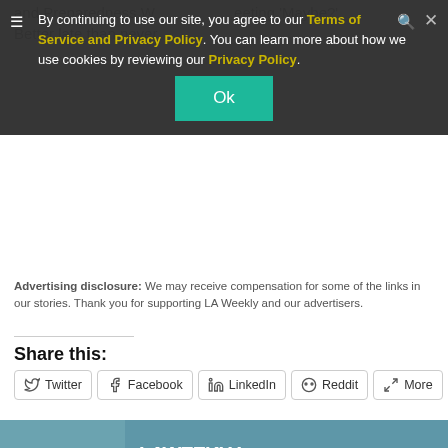By continuing to use our site, you agree to our Terms of Service and Privacy Policy. You can learn more about how we use cookies by reviewing our Privacy Policy.
and Preparedness W... Meeting 'Maybe?' Better late than never.
Advertising disclosure: We may receive compensation for some of the links in our stories. Thank you for supporting LA Weekly and our advertisers.
Share this:
Twitter  Facebook  LinkedIn  Reddit  More
[Figure (infographic): LA Weekly Cooking Box advertisement banner with food photo on the left and text: LAWEEKLY COOKING BOX ON SALE NOW! SHOP NOW]
[Figure (infographic): LA Weekly Cooking Box advertisement banner on gray background]